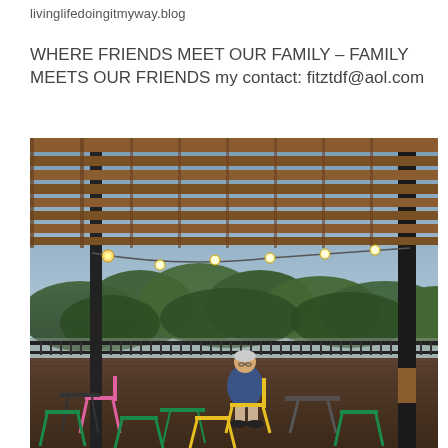livinglifedoingitmyway.blog
WHERE FRIENDS MEET OUR FAMILY – FAMILY MEETS OUR FRIENDS my contact: fitztdf@aol.com
[Figure (photo): Outdoor rooftop patio under a wooden pergola with string lights. A man in a blue sweatshirt sits on a yellow folding chair at a small bistro table. Colorful bistro chairs (green, yellow, pink) are scattered on a dark wood deck. A metal railing overlooks a valley with dense green trees under a blue-grey evening sky.]